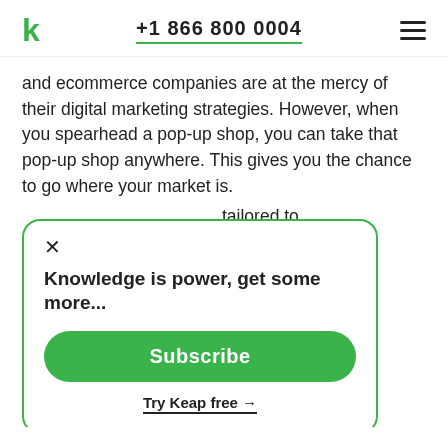Keap logo | +1 866 800 0004 | menu
and ecommerce companies are at the mercy of their digital marketing strategies. However, when you spearhead a pop-up shop, you can take that pop-up shop anywhere. This gives you the chance to go where your market is.
tailored to up shop s in mind, it's a before you our customers site visitors s? What at are the g these
[Figure (screenshot): A modal popup with a green border containing an X close button, bold text 'Knowledge is power, get some more...', a green Subscribe button, and a 'Try Keap free →' underlined link]
important metrics allows you to hone in on a